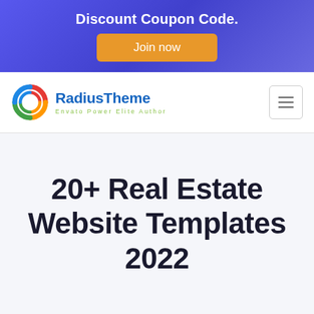Discount Coupon Code.
Join now
[Figure (logo): RadiusTheme logo with colorful swirl icon and text 'RadiusTheme — Envato Power Elite Author']
20+ Real Estate Website Templates 2022